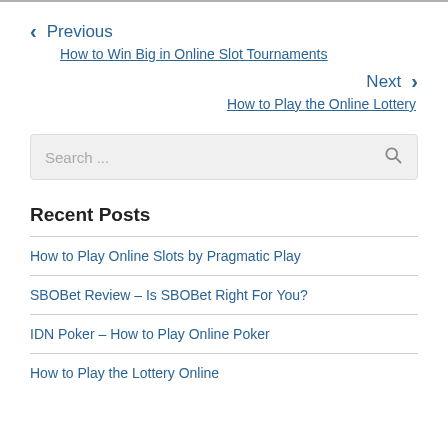< Previous
How to Win Big in Online Slot Tournaments
Next >
How to Play the Online Lottery
Search ...
Recent Posts
How to Play Online Slots by Pragmatic Play
SBOBet Review – Is SBOBet Right For You?
IDN Poker – How to Play Online Poker
How to Play the Lottery Online